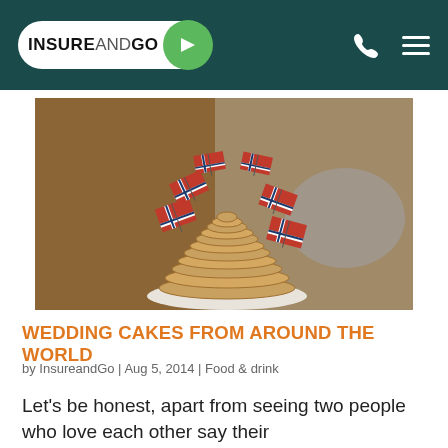INSUREANDGO
[Figure (photo): A tower of stacked ring-shaped Norwegian Kransekake cake decorated with multiple Norwegian flags (red with blue and white cross) rising from its tiers, placed on a white plate, photographed in warm brown indoor lighting.]
WEDDING CAKES FROM AROUND THE WORLD
by InsureandGo | Aug 5, 2014 | Food & drink
Let's be honest, apart from seeing two people who love each other say their